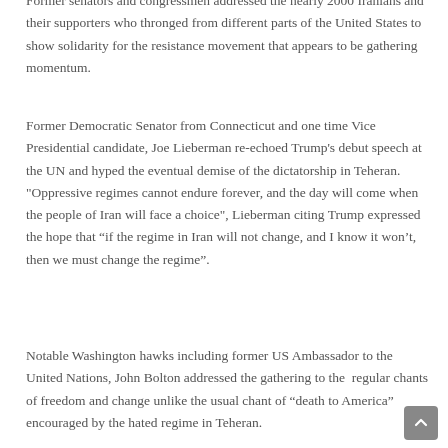Former senators and congressmen addressed the nearly 2000 Iranians and their supporters who thronged from different parts of the United States to show solidarity for the resistance movement that appears to be gathering momentum.
Former Democratic Senator from Connecticut and one time Vice Presidential candidate, Joe Lieberman re-echoed Trump's debut speech at the UN and hyped the eventual demise of the dictatorship in Teheran.  "Oppressive regimes cannot endure forever, and the day will come when the people of Iran will face a choice", Lieberman citing Trump expressed the hope that “if the regime in Iran will not change, and I know it won’t, then we must change the regime".
Notable Washington hawks including former US Ambassador to the United Nations, John Bolton addressed the gathering to the regular chants of freedom and change unlike the usual chant of “death to America” encouraged by the hated regime in Teheran.